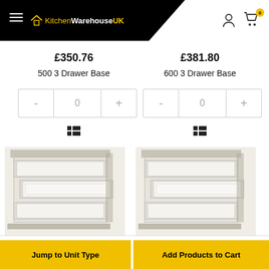KitchenWarehouseUK — navigation header with hamburger menu, logo, user icon, and cart with 0 items
£350.76
500 3 Drawer Base
£381.80
600 3 Drawer Base
[Figure (screenshot): Quantity selector control with minus button, 0, plus button — left product]
[Figure (screenshot): Quantity selector control with minus button, 0, plus button — right product]
[Figure (photo): 500 3 Drawer Base cabinet — white drawer unit with drawers partially open]
[Figure (photo): 600 3 Drawer Base cabinet — white drawer unit with drawers partially open]
Jump to Unit Type
Add Products to Cart